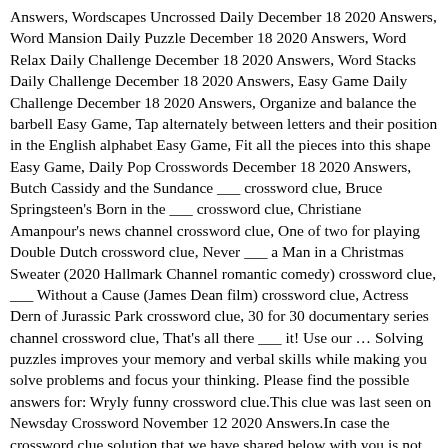Answers, Wordscapes Uncrossed Daily December 18 2020 Answers, Word Mansion Daily Puzzle December 18 2020 Answers, Word Relax Daily Challenge December 18 2020 Answers, Word Stacks Daily Challenge December 18 2020 Answers, Easy Game Daily Challenge December 18 2020 Answers, Organize and balance the barbell Easy Game, Tap alternately between letters and their position in the English alphabet Easy Game, Fit all the pieces into this shape Easy Game, Daily Pop Crosswords December 18 2020 Answers, Butch Cassidy and the Sundance ___ crossword clue, Bruce Springsteen's Born in the ___ crossword clue, Christiane Amanpour's news channel crossword clue, One of two for playing Double Dutch crossword clue, Never ___ a Man in a Christmas Sweater (2020 Hallmark Channel romantic comedy) crossword clue, ___ Without a Cause (James Dean film) crossword clue, Actress Dern of Jurassic Park crossword clue, 30 for 30 documentary series channel crossword clue, That's all there ___ it! Use our … Solving puzzles improves your memory and verbal skills while making you solve problems and focus your thinking. Please find the possible answers for: Wryly funny crossword clue.This clue was last seen on Newsday Crossword November 12 2020 Answers.In case the crossword clue solution that we have shared below with you is not accurate then we highly recommend you to use our search feature because same clues might have different answers. But opting out of some of these cookies may affect your browsing experience. The